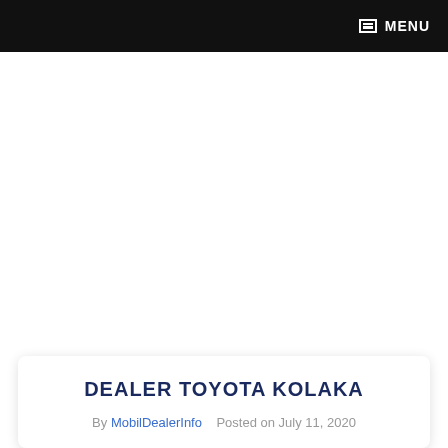MENU
DEALER TOYOTA KOLAKA
By MobilDealerInfo   Posted on July 11, 2020